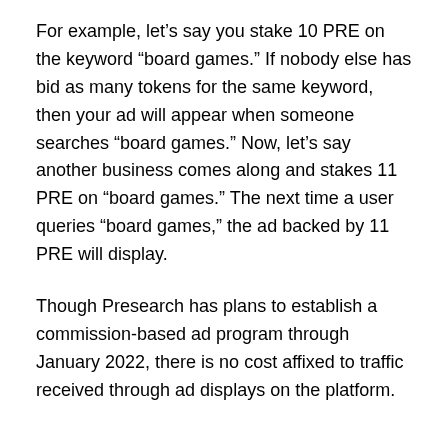For example, let’s say you stake 10 PRE on the keyword “board games.” If nobody else has bid as many tokens for the same keyword, then your ad will appear when someone searches “board games.” Now, let’s say another business comes along and stakes 11 PRE on “board games.” The next time a user queries “board games,” the ad backed by 11 PRE will display.
Though Presearch has plans to establish a commission-based ad program through January 2022, there is no cost affixed to traffic received through ad displays on the platform.
Why Keyword Advertising Works